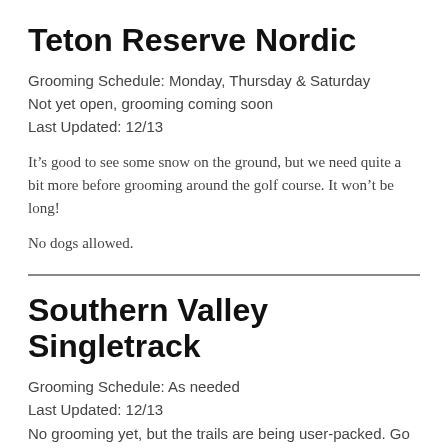Teton Reserve Nordic
Grooming Schedule: Monday, Thursday & Saturday
Not yet open, grooming coming soon
Last Updated: 12/13
It’s good to see some snow on the ground, but we need quite a bit more before grooming around the golf course. It won’t be long!
No dogs allowed.
Southern Valley Singletrack
Grooming Schedule: As needed
Last Updated: 12/13
No grooming yet, but the trails are being user-packed. Go have fun!